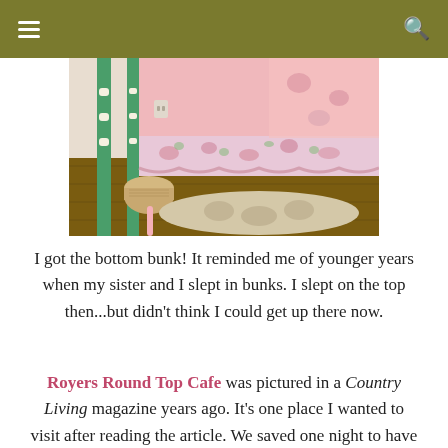Navigation menu and search icons
[Figure (photo): Interior bedroom photo showing a bunk bed with green painted spindle posts, pink floral bedskirt and bedding, a small round wicker basket on a wooden floor, and a floral area rug beneath the bed.]
I got the bottom bunk! It reminded me of younger years when my sister and I slept in bunks. I slept on the top then...but didn't think I could get up there now.
Royers Round Top Cafe was pictured in a Country Living magazine years ago. It's one place I wanted to visit after reading the article. We saved one night to have